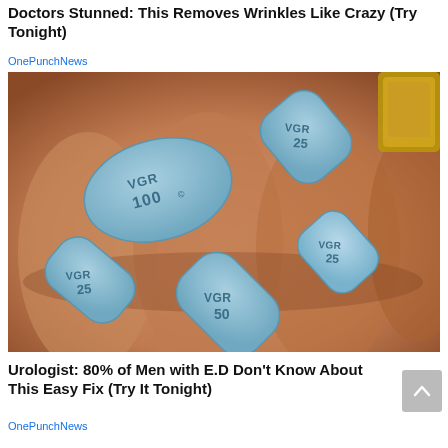Doctors Stunned: This Removes Wrinkles Like Crazy (Try Tonight)
OnePunchNews
[Figure (photo): Close-up photograph of a hand holding multiple blue diamond-shaped and oval-shaped pills labeled VGR 25, VGR 50, VGR 100, and VGR 25.]
Urologist: 80% of Men with E.D Don't Know About This Easy Fix (Try It Tonight)
OnePunchNews